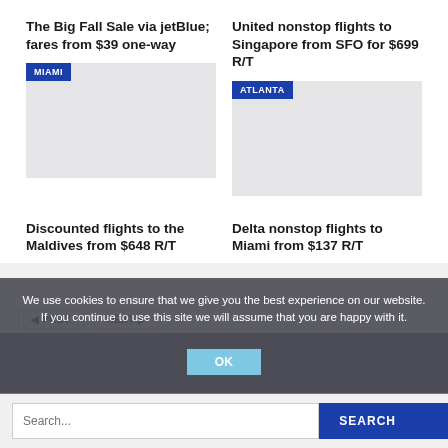The Big Fall Sale via jetBlue; fares from $39 one-way
[Figure (photo): Card image with MIAMI location badge and gray placeholder image]
United nonstop flights to Singapore from SFO for $699 R/T
[Figure (photo): Card image with ATLANTA location badge and gray placeholder image]
Discounted flights to the Maldives from $648 R/T
Delta nonstop flights to Miami from $137 R/T
We use cookies to ensure that we give you the best experience on our website. If you continue to use this site we will assume that you are happy with it.
OK
Search...
SEARCH